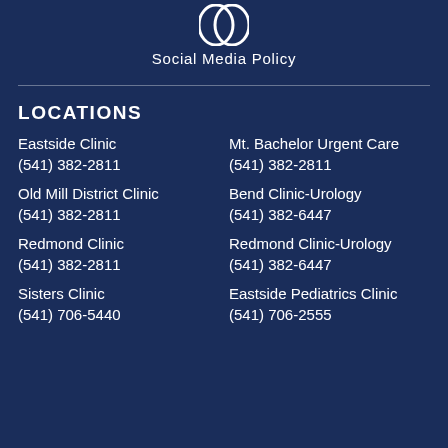[Figure (illustration): Two overlapping social media icon circles (partially visible at top)]
Social Media Policy
LOCATIONS
Eastside Clinic
(541) 382-2811
Mt. Bachelor Urgent Care
(541) 382-2811
Old Mill District Clinic
(541) 382-2811
Bend Clinic-Urology
(541) 382-6447
Redmond Clinic
(541) 382-2811
Redmond Clinic-Urology
(541) 382-6447
Sisters Clinic
(541) 706-5440
Eastside Pediatrics Clinic
(541) 706-2555